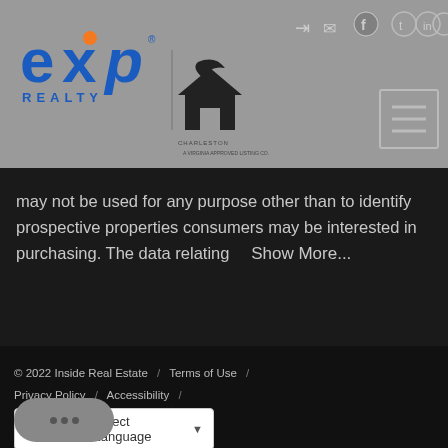[Figure (logo): eXp Realty logo with Charleston house/moon secondary logo, social media icons (login, mail, facebook, twitter, linkedin, instagram), and hamburger navigation menu in gray header]
may not be used for any purpose other than to identify prospective properties consumers may be interested in purchasing. The data relating   Show More...
© 2022 Inside Real Estate  /  Terms of Use  /  Privacy Policy  /  Accessibility  /  Fair Housing Statement  /  [Equal Housing logo]  /
[Figure (other): Google Translate Select Language dropdown widget]
[Figure (other): Chat bubble with three dots indicating a chat widget]